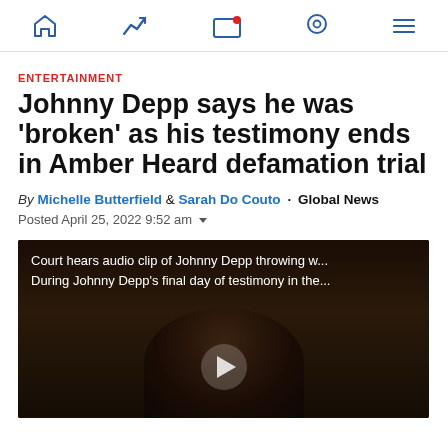Navigation bar with home, trending, live TV, location, and menu icons
ENTERTAINMENT
Johnny Depp says he was 'broken' as his testimony ends in Amber Heard defamation trial
By Michelle Butterfield & Sarah Do Couto · Global News
Posted April 25, 2022 9:52 am
[Figure (screenshot): Video thumbnail showing court footage with overlay text: 'Court hears audio clip of Johnny Depp throwing w... During Johnny Depp's final day of testimony in the...' with a play button in the center]